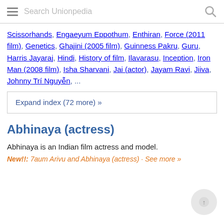Search Unionpedia
Scissorhands, Engaeyum Eppothum, Enthiran, Force (2011 film), Genetics, Ghajini (2005 film), Guinness Pakru, Guru, Harris Jayaraj, Hindi, History of film, Ilavarasu, Inception, Iron Man (2008 film), Isha Sharvani, Jai (actor), Jayam Ravi, Jiiva, Johnny Trí Nguyễn, ...
Expand index (72 more) »
Abhinaya (actress)
Abhinaya is an Indian film actress and model.
New!!: 7aum Arivu and Abhinaya (actress) · See more »